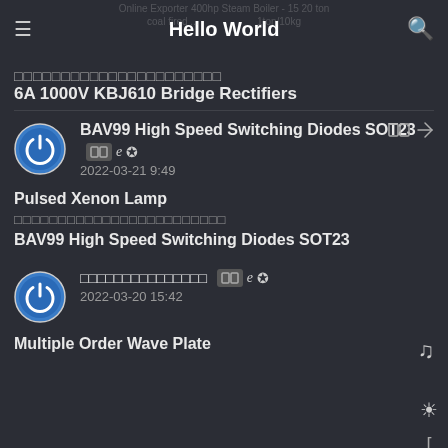Hello World
Online Exporter 400hp Steam Boiler - 15 20 ton coal fired ... 1ton/10kg
□□□□□□□□□□□□□□□□□□□□
6A 1000V KBJ610 Bridge Rectifiers
BAV99 High Speed Switching Diodes SOT23
2022-03-21 9:49
Pulsed Xenon Lamp
□□□□□□□□□□□□□□□□□□□□□□
BAV99 High Speed Switching Diodes SOT23
□□□□□□□□□□□□□□□  2022-03-20 15:42
Multiple Order Wave Plate